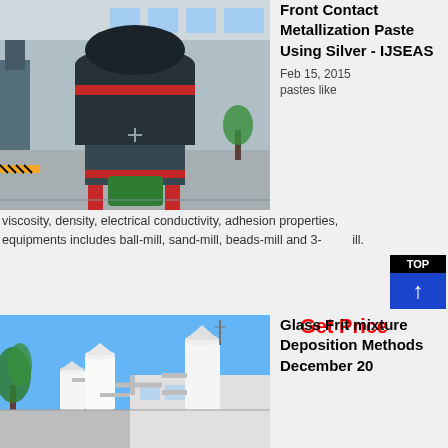[Figure (photo): Industrial ball mill machine in a factory setting with large black cylindrical body, red accents, mounted on a platform inside a warehouse]
Front Contact Metallization Paste Using Silver - IJSEAS
Feb 15, 2015
pastes like
viscosity, density, electrical conductivity, adhesion properties, equipments includes ball-mill, sand-mill, beads-mill and 3-roll mill.
Get Price
[Figure (photo): Industrial milling or grinding facility with large white cylindrical tanks and pipes outdoors under blue sky with trees]
Glass Frit mixture Deposition Methods December 20